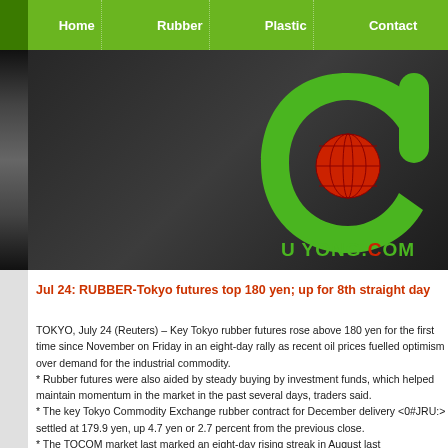Home | Rubber | Plastic | Contact
[Figure (logo): U Yong.com logo: green crescent/U shape with red globe, text 'U YONG.COM' in green below, on dark background banner]
Jul 24: RUBBER-Tokyo futures top 180 yen; up for 8th straight day
TOKYO, July 24 (Reuters) – Key Tokyo rubber futures rose above 180 yen for the first time since November on Friday in an eight-day rally as recent oil prices fuelled optimism over demand for the industrial commodity.
* Rubber futures were also aided by steady buying by investment funds, which helped maintain momentum in the market in the past several days, traders said.
* The key Tokyo Commodity Exchange rubber contract for December delivery <0#JRU:> settled at 179.9 yen, up 4.7 yen or 2.7 percent from the previous close.
* The TOCOM market last marked an eight-day rising streak in August last